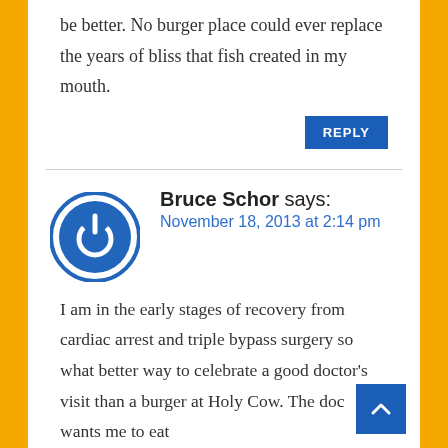be better. No burger place could ever replace the years of bliss that fish created in my mouth.
REPLY
Bruce Schor says:
November 18, 2013 at 2:14 pm
[Figure (illustration): Circular avatar icon with a power button symbol in blue and white]
I am in the early stages of recovery from cardiac arrest and triple bypass surgery so what better way to celebrate a good doctor's visit than a burger at Holy Cow. The doc wants me to eat